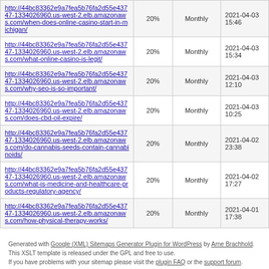| http://44bc83362e9a7fea5b76fa2d55e43747-1334026960.us-west-2.elb.amazonaws.com/when-does-online-casino-start-in-michigan/ | 20% | Monthly | 2021-04-03 15:46 |
| http://44bc83362e9a7fea5b76fa2d55e43747-1334026960.us-west-2.elb.amazonaws.com/what-online-casino-is-legit/ | 20% | Monthly | 2021-04-03 15:34 |
| http://44bc83362e9a7fea5b76fa2d55e43747-1334026960.us-west-2.elb.amazonaws.com/why-seo-is-so-important/ | 20% | Monthly | 2021-04-03 12:10 |
| http://44bc83362e9a7fea5b76fa2d55e43747-1334026960.us-west-2.elb.amazonaws.com/does-cbd-oil-expire/ | 20% | Monthly | 2021-04-03 10:25 |
| http://44bc83362e9a7fea5b76fa2d55e43747-1334026960.us-west-2.elb.amazonaws.com/do-cannabis-seeds-contain-cannabinoids/ | 20% | Monthly | 2021-04-02 23:38 |
| http://44bc83362e9a7fea5b76fa2d55e43747-1334026960.us-west-2.elb.amazonaws.com/what-is-medicine-and-healthcare-products-regulatory-agency/ | 20% | Monthly | 2021-04-02 17:27 |
| http://44bc83362e9a7fea5b76fa2d55e43747-1334026960.us-west-2.elb.amazonaws.com/how-physical-therapy-works/ | 20% | Monthly | 2021-04-01 17:38 |
Generated with Google (XML) Sitemaps Generator Plugin for WordPress by Arne Brachhold. This XSLT template is released under the GPL and free to use.
If you have problems with your sitemap please visit the plugin FAQ or the support forum.